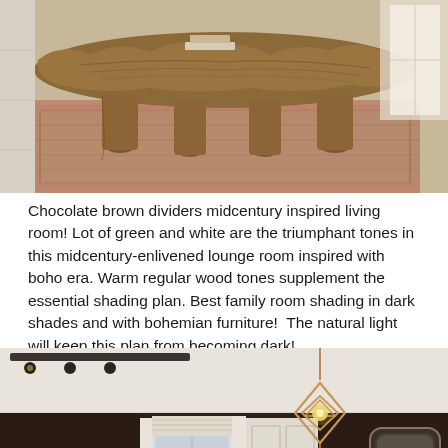[Figure (photo): A rustic live-edge wood coffee table with natural log legs, placed on a patterned area rug. Bright natural light from a window in the background.]
Chocolate brown dividers midcentury inspired living room! Lot of green and white are the triumphant tones in this midcentury-enlivened lounge room inspired with boho era. Warm regular wood tones supplement the essential shading plan. Best family room shading in dark shades and with bohemian furniture!  The natural light will keep this plan from becoming dark!
[Figure (photo): A dark chocolate brown painted living room with geometric copper pendant light, tropical plants, white door frames, and a round mirror.]